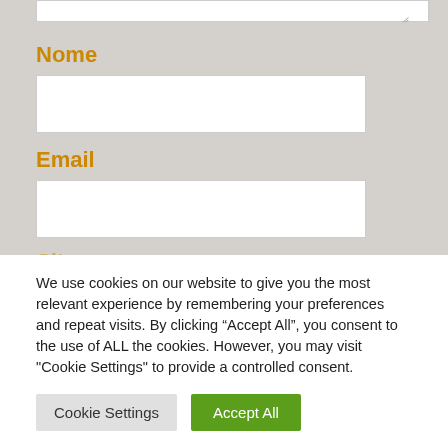[Figure (screenshot): Top portion of a web form on a gray background showing text area at top, then form fields labeled Nome and Email with white input boxes]
Nome
Email
We use cookies on our website to give you the most relevant experience by remembering your preferences and repeat visits. By clicking “Accept All”, you consent to the use of ALL the cookies. However, you may visit "Cookie Settings" to provide a controlled consent.
Cookie Settings
Accept All